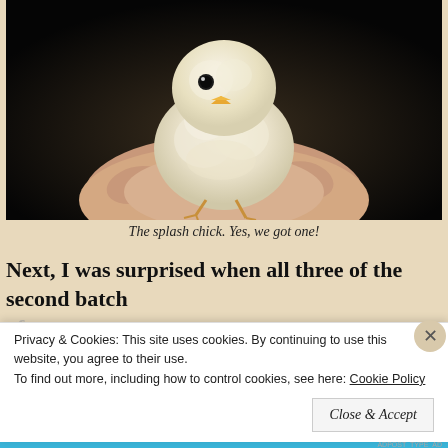[Figure (photo): A small fluffy yellow baby chick (splash chick) sitting in an open human hand, photographed against a dark background.]
The splash chick. Yes, we got one!
Next, I was surprised when all three of the second batch
Privacy & Cookies: This site uses cookies. By continuing to use this website, you agree to their use.
To find out more, including how to control cookies, see here: Cookie Policy